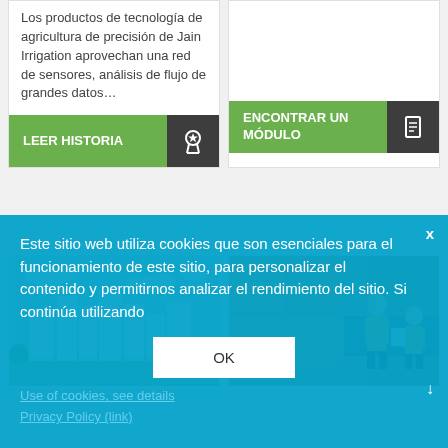Los productos de tecnología de agricultura de precisión de Jain Irrigation aprovechan una red de sensores, análisis de flujo de grandes datos…
LEER HISTORIA
ENCONTRAR UN MÓDULO
[Figure (illustration): Green city/smart city illustration with buildings, trees, clouds]
[Figure (photo): Warehouse workers in yellow vests checking packages on conveyor belt]
Este sitio web utiliza cookies que son esenciales para el funcionamiento de este sitio, para personalizar el contenido y permitirnos analizar el rendimiento del sitio. Si continúa utilizando
OK